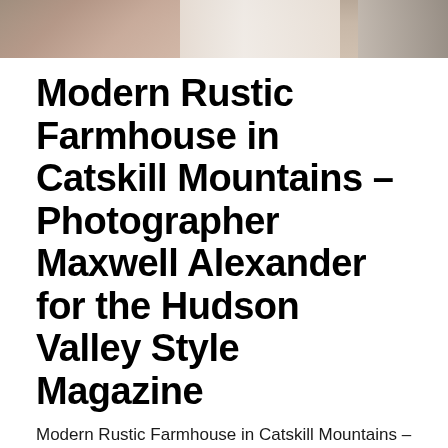[Figure (photo): Top portion of a photo showing a home interior scene with decorative pillows and home accessories on a wooden surface, partially cropped at the top of the page.]
Modern Rustic Farmhouse in Catskill Mountains – Photographer Maxwell Alexander for the Hudson Valley Style Magazine
Modern Rustic Farmhouse in Catskill Mountains – Maxwell Alexander – Photo Tour for the Hudson Valley Style Magazine Anyone can take a photograph. What if you wanted to capture the nuance, personality and intimate details of a home? Duncan Avenue Studios is Hudson Val…